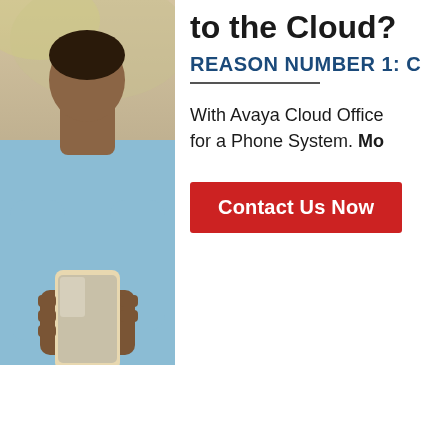[Figure (photo): A person in a light blue shirt holding a smartphone, photographed outdoors with a blurred background. Only the torso and hands are visible.]
to the Cloud?
REASON NUMBER 1: C
With Avaya Cloud Office for a Phone System. Mo
Contact Us Now